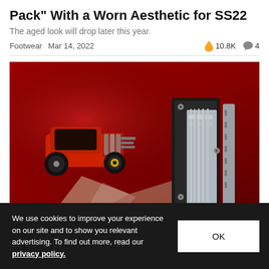Pack" With a Worn Aesthetic for SS22
The aged look will drop later this year.
Footwear  Mar 14, 2022  🔥 10.8K  💬 4
[Figure (photo): A red Hot Wheels toy car (rat rod style) on a red surface next to chrome/metal guitar hardware parts]
We use cookies to improve your experience on our site and to show you relevant advertising. To find out more, read our privacy policy.